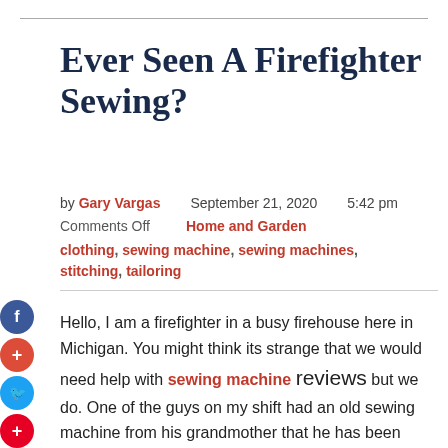Ever Seen A Firefighter Sewing?
by Gary Vargas   September 21, 2020   5:42 pm
Comments Off   Home and Garden
clothing, sewing machine, sewing machines, stitching, tailoring
Hello, I am a firefighter in a busy firehouse here in Michigan. You might think its strange that we would need help with sewing machine reviews but we do. One of the guys on my shift had an old sewing machine from his grandmother that he has been using to repair our uniforms and equipment here at